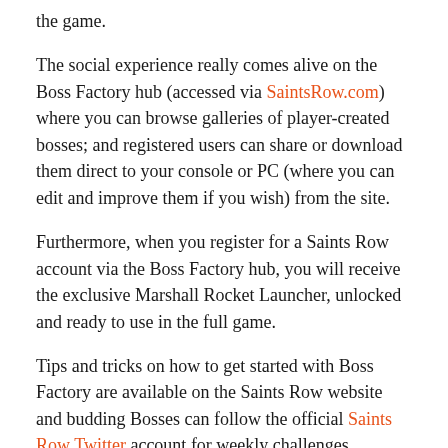the game.
The social experience really comes alive on the Boss Factory hub (accessed via SaintsRow.com) where you can browse galleries of player-created bosses; and registered users can share or download them direct to your console or PC (where you can edit and improve them if you wish) from the site.
Furthermore, when you register for a Saints Row account via the Boss Factory hub, you will receive the exclusive Marshall Rocket Launcher, unlocked and ready to use in the full game.
Tips and tricks on how to get started with Boss Factory are available on the Saints Row website and budding Bosses can follow the official Saints Row Twitter account for weekly challenges, competitions and to see the greatest creations from the Saints Row community.